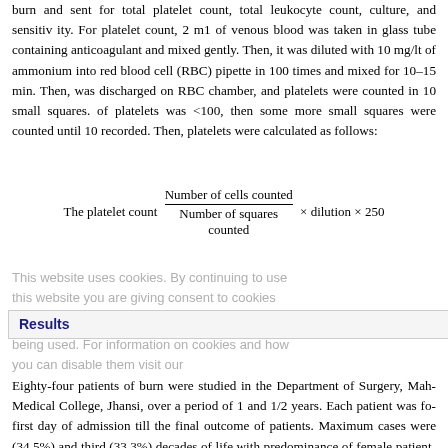burn and sent for total platelet count, total leukocyte count, culture, and sensitivity. For platelet count, 2 ml of venous blood was taken in glass tube containing anticoagulant and mixed gently. Then, it was diluted with 10 mg/lt of ammonium oxalate into red blood cell (RBC) pipette in 100 times and mixed for 10–15 min. Then, the fluid was discharged on RBC chamber, and platelets were counted in 10 small squares. If count of platelets was <100, then some more small squares were counted until 10 platelets were recorded. Then, platelets were calculated as follows:
Results
Eighty-four patients of burn were studied in the Department of Surgery, Maharani Laxmi Bai Medical College, Jhansi, over a period of 1 and 1/2 years. Each patient was followed up from the first day of admission till the final outcome of patients. Maximum cases were seen in second (34.5%) and third (33.3%) decades of life with predominance of female patients in the ratio of 3:1 (female: 73.9% and male: 26.1%). Majority of the patients (27.4%) of burn were housewives. The study group comprising 84 patients was admitted into two groups: Group I